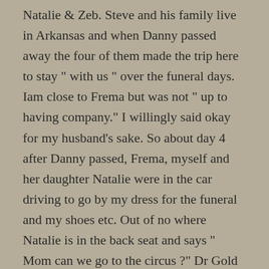Natalie & Zeb. Steve and his family live in Arkansas and when Danny passed away the four of them made the trip here to stay " with us " over the funeral days. Iam close to Frema but was not " up to having company." I willingly said okay for my husband's sake. So about day 4 after Danny passed, Frema, myself and her daughter Natalie were in the car driving to go by my dress for the funeral and my shoes etc. Out of no where Natalie is in the back seat and says " Mom can we go to the circus ?" Dr Gold it was funny & we laughed, it made no sense. That laugh was good medicine for my soul. Once the funeral was over and they left to go home, my oldest son said " I think it was good they ended up being here for us, otherwise we probably would